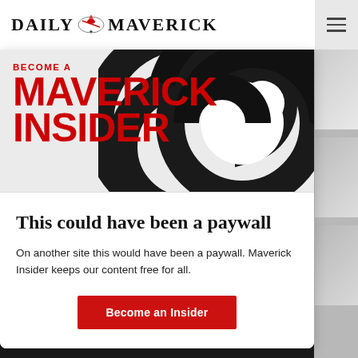DAILY MAVERICK
[Figure (logo): Daily Maverick logo with eagle/bird graphic between DAILY and MAVERICK text]
[Figure (illustration): Large black and white spiral/yin-yang style graphic on grey background with red text overlay reading BECOME A MAVERICK INSIDER]
This could have been a paywall
On another site this would have been a paywall. Maverick Insider keeps our content free for all.
[Figure (other): Red button labeled Become an Insider]
[Figure (screenshot): Bottom strip showing 12H00 SAST text in yellow on dark background with partial faces visible]